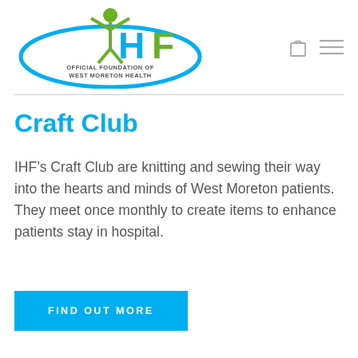[Figure (logo): IHF logo — stylized figure with arms raised, cyan 'HF' letters, green figure, blue oval ellipse, text: OFFICIAL FOUNDATION OF WEST MORETON HEALTH]
Craft Club
IHF’s Craft Club are knitting and sewing their way into the hearts and minds of West Moreton patients. They meet once monthly to create items to enhance patients stay in hospital.
FIND OUT MORE